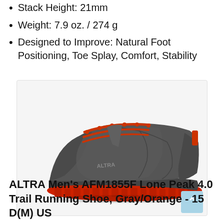Stack Height: 21mm
Weight: 7.9 oz. / 274 g
Designed to Improve: Natural Foot Positioning, Toe Splay, Comfort, Stability
[Figure (photo): Gray and orange/red Altra Men's AFM1855F Lone Peak 4.0 Trail Running Shoe shown from the side profile against a white background]
ALTRA Men's AFM1855F Lone Peak 4.0 Trail Running Shoe, Gray/Orange - 15 D(M) US